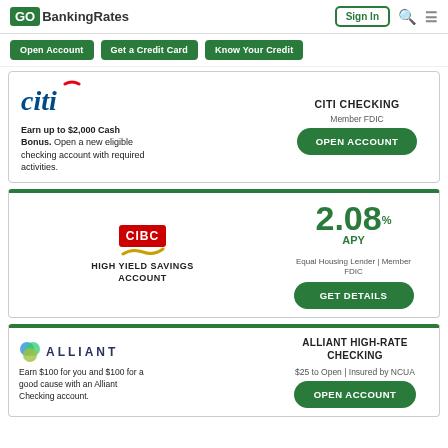GOBankingRates | Sign In
Open Account | Get a Credit Card | Know Your Credit
[Figure (logo): Citi bank logo with red arc]
Earn up to $2,000 Cash Bonus. Open a new eligible checking account with required activities.
CITI CHECKING
Member FDIC
OPEN ACCOUNT
[Figure (logo): CIBC logo in red box with gold wave]
HIGH YIELD SAVINGS ACCOUNT
2.08% APY
Equal Housing Lender | Member FDIC
GET DETAILS
[Figure (logo): Alliant logo with colored circles]
Earn $100 for you and $100 for a good cause with an Alliant Checking account.
ALLIANT HIGH-RATE CHECKING
$25 to Open | Insured by NCUA
OPEN ACCOUNT